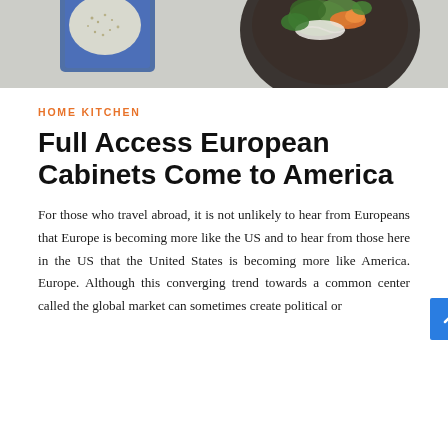[Figure (photo): Top-down food photography showing a blue ceramic dish with quinoa or seeds, and a dark bowl with a colorful salad/dish garnished with green herbs and orange/red ingredients, on a light grey surface.]
HOME KITCHEN
Full Access European Cabinets Come to America
For those who travel abroad, it is not unlikely to hear from Europeans that Europe is becoming more like the US and to hear from those here in the US that the United States is becoming more like America. Europe. Although this converging trend towards a common center called the global market can sometimes create political or